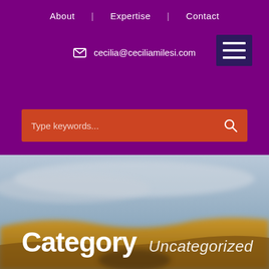About | Expertise | Contact
[Figure (screenshot): Hamburger menu icon — three white horizontal lines on dark purple background]
cecilia@ceciliamilesi.com
Type keywords...
[Figure (photo): Blurred landscape with desert hills and cloudy sky]
Category  Uncategorized